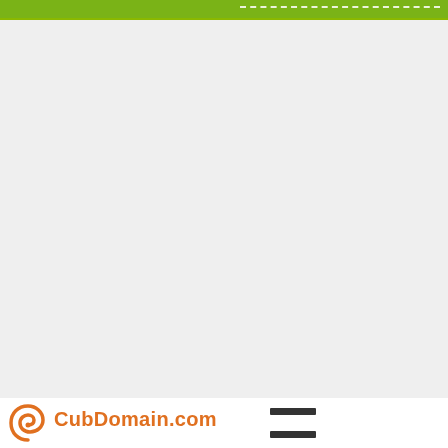[Figure (other): Green navigation bar at the top with a dashed white line on the right portion]
[Figure (other): Large light-gray content area filling most of the page]
[Figure (logo): CubDomain.com logo with orange spiral icon and orange text, plus a hamburger/menu icon with two dark horizontal bars]